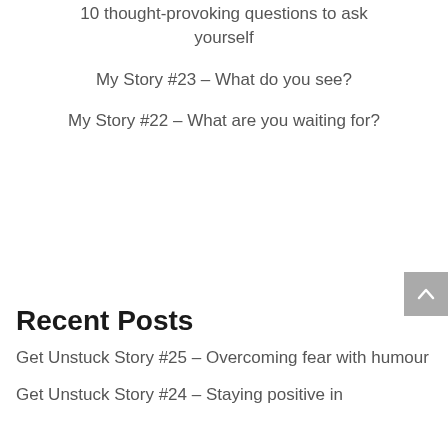10 thought-provoking questions to ask yourself
My Story #23 – What do you see?
My Story #22 – What are you waiting for?
Recent Posts
Get Unstuck Story #25 – Overcoming fear with humour
Get Unstuck Story #24 – Staying positive in